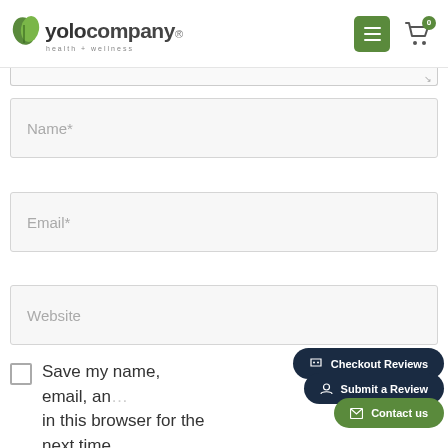yolocompany health + wellness
[Figure (screenshot): Partial view of a textarea input field (top of previous form field, cut off at top of content area)]
Name*
Email*
Website
Checkout Reviews
Submit a Review
Contact us
Save my name, email, an... in this browser for the next time... comment.